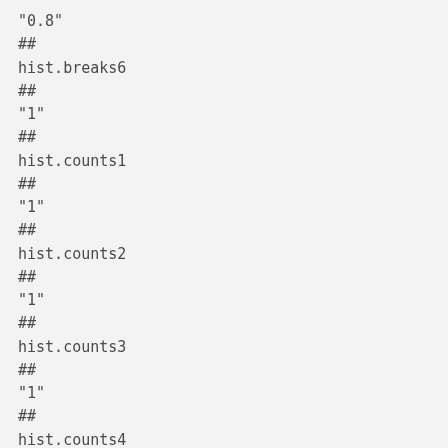"0.8"
##
hist.breaks6
##
"1"
##
hist.counts1
##
"1"
##
hist.counts2
##
"1"
##
hist.counts3
##
"1"
##
hist.counts4
##
"0"
##
hist.counts5
##